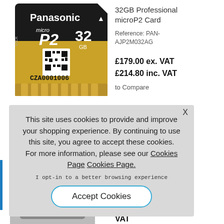[Figure (photo): Panasonic 32GB Professional microP2 memory card with gold/black design and QR code, label CZA0001006]
32GB Professional microP2 Card
Reference: PAN-AJP2M032AG
£179.00 ex. VAT
£214.80 inc. VAT
to Compare
ce Unit for NEX-NXCAM
rder
nce: HXR-IFR5
1.23 ex. VAT
7.48 inc.
VAT
This site uses cookies to provide and improve your shopping experience. By continuing to use this site, you agree to accept these cookies.
For more information, please see our Cookies Page Cookies Page.
I opt-in to a better browsing experience
Accept Cookies